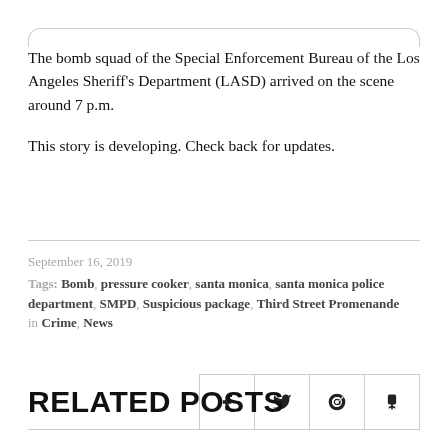The bomb squad of the Special Enforcement Bureau of the Los Angeles Sheriff's Department (LASD) arrived on the scene around 7 p.m.
This story is developing. Check back for updates.
September 16, 2019
Tags: Bomb, pressure cooker, santa monica, santa monica police department, SMPD, Suspicious package, Third Street Promenande
in Crime, News
[Figure (other): Social share buttons for Facebook, Twitter, Reddit, and Tumblr]
RELATED POSTS